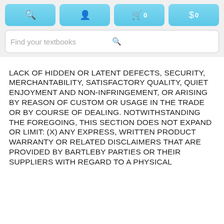Navigation bar with search, user, cart (0), and savings (0) buttons. Search field: Find your textbooks
LACK OF HIDDEN OR LATENT DEFECTS, SECURITY, MERCHANTABILITY, SATISFACTORY QUALITY, QUIET ENJOYMENT AND NON-INFRINGEMENT, OR ARISING BY REASON OF CUSTOM OR USAGE IN THE TRADE OR BY COURSE OF DEALING. NOTWITHSTANDING THE FOREGOING, THIS SECTION DOES NOT EXPAND OR LIMIT: (X) ANY EXPRESS, WRITTEN PRODUCT WARRANTY OR RELATED DISCLAIMERS THAT ARE PROVIDED BY BARTLEBY PARTIES OR THEIR SUPPLIERS WITH REGARD TO A PHYSICAL